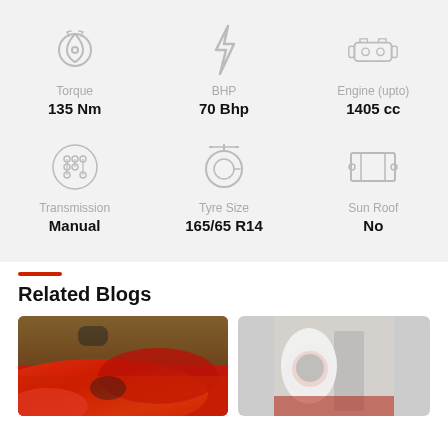[Figure (infographic): Car specs grid showing Torque 135 Nm, BHP 70 Bhp, Engine (upto) 1405 cc, Transmission Manual, Tyre Size 165/65 R14, Sun Roof No]
Related Blogs
[Figure (photo): Red sports car close-up photo]
[Figure (photo): Person in white hoodie near red car]